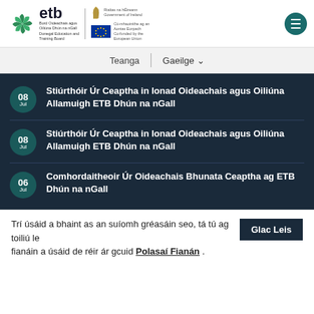[Figure (logo): ETB Donegal Education and Training Board logo with spiral graphic, alongside Government of Ireland harp and EU co-funded logos]
Teanga | Gaeilge
08 Jul – Stiúrthóir Úr Ceaptha in Ionad Oideachais agus Oiliúna Allamuigh ETB Dhún na nGall
08 Jul – Stiúrthóir Úr Ceaptha in Ionad Oideachais agus Oiliúna Allamuigh ETB Dhún na nGall
06 Jul – Comhordaitheoir Úr Oideachais Bhunata Ceaptha ag ETB Dhún na nGall
Trí úsáid a bhaint as an suíomh gréasáin seo, tá tú ag toiliú le fianáin a úsáid de réir ár gcuid Polasaí Fianán . Glac Leis